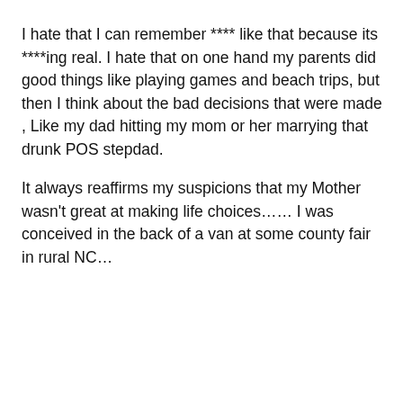I hate that I can remember **** like that because its ****ing real. I hate that on one hand my parents did good things like playing games and beach trips, but then I think about the bad decisions that were made , Like my dad hitting my mom or her marrying that drunk POS stepdad.

It always reaffirms my suspicions that my Mother wasn't great at making life choices...... I was conceived in the back of a van at some county fair in rural NC...
Quote
#7
This website uses cookies to ensure you get the best experience and relevant advertisements while visiting. Learn more
Got it!
uff
and